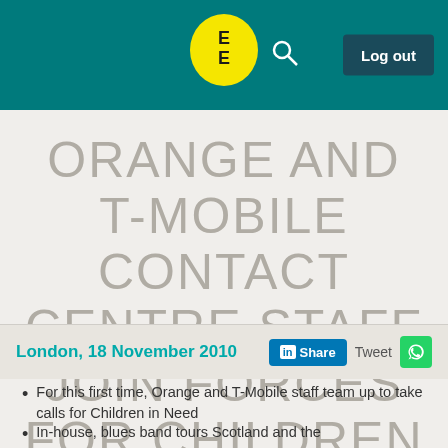EE | Log out
ORANGE AND T-MOBILE CONTACT CENTRE STAFF JOIN FORCES FOR CHILDREN IN NEED
London, 18 November 2010
For this first time, Orange and T-Mobile staff team up to take calls for Children in Need
In-house, blues band tours Scotland and the